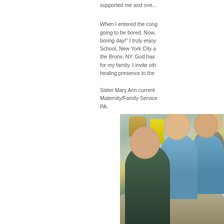supported me and the...
When I entered the congregation, someone told me I was never going to be bored. Now, I can honestly say, "I have never had a boring day!" I truly enjoy my ministry. I have served in Catholic School, New York City and I am currently stationed in the Bronx, NY. God has blessed me greatly and continues to provide for my family. I invite others to share our charism and bring a healing presence to the...
Sister Mary Ann currently serves as the Coordinator for Maternity/Family Services at St. Joseph Medical Center, Reading, PA.
[Figure (photo): Group photo of several women smiling, some wearing light blue shirts, in what appears to be a supply room or storage area with bags and baskets visible in the background.]